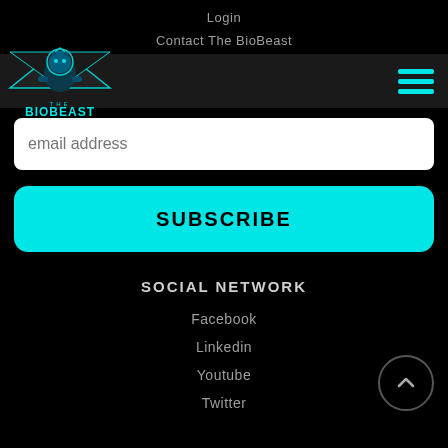Login
Contact The BioBeast
[Figure (logo): The BioBeast logo — muscular lion figure in cyan/blue tones with star/triangle background, text BIOBEAST below]
email address
SUBSCRIBE
SOCIAL NETWORK
Facebook
Linkedin
Youtube
Twitter